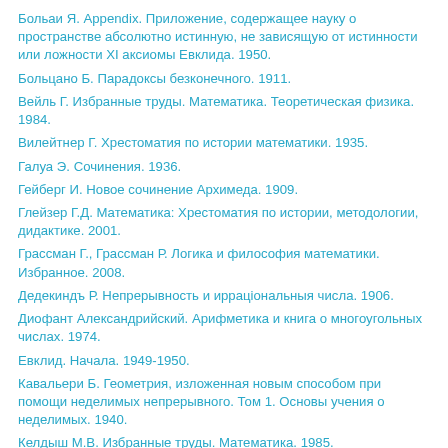Больаи Я. Appendix. Приложение, содержащее науку о пространстве абсолютно истинную, не зависящую от истинности или ложности XI аксиомы Евклида. 1950.
Больцано Б. Парадоксы безконечного. 1911.
Вейль Г. Избранные труды. Математика. Теоретическая физика. 1984.
Вилейтнер Г. Хрестоматия по истории математики. 1935.
Галуа Э. Сочинения. 1936.
Гейберг И. Новое сочинение Архимеда. 1909.
Глейзер Г.Д. Математика: Хрестоматия по истории, методологии, дидактике. 2001.
Грассман Г., Грассман Р. Логика и философия математики. Избранное. 2008.
Дедекиндъ Р. Непрерывность и ирраціональныя числа. 1906.
Диофант Александрийский. Арифметика и книга о многоугольных числах. 1974.
Евклид. Начала. 1949-1950.
Кавальери Б. Геометрия, изложенная новым способом при помощи неделимых непрерывного. Том 1. Основы учения о неделимых. 1940.
Келдыш М.В. Избранные труды. Математика. 1985.